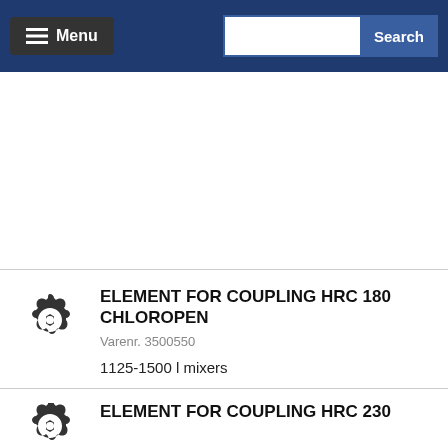Menu | Search
[Figure (other): Advertisement or blank content area]
[Figure (illustration): Gear/coupling element icon for HRC 180]
ELEMENT FOR COUPLING HRC 180 CHLOROPEN
Varenr. 3500550
1125-1500 l mixers
[Figure (illustration): Gear/coupling element icon for HRC 230]
ELEMENT FOR COUPLING HRC 230